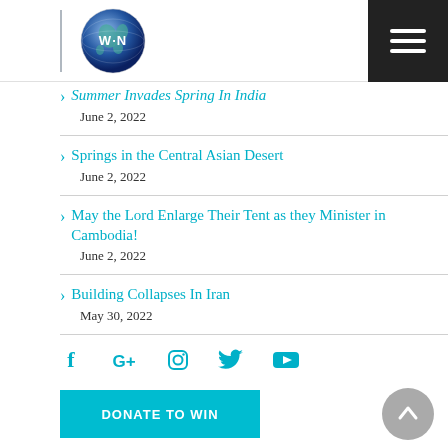WIN
Summer Invades Spring In India
Springs in the Central Asian Desert
May the Lord Enlarge Their Tent as they Minister in Cambodia!
Building Collapses In Iran
[Figure (infographic): Social media icons row: Facebook, Google+, Instagram, Twitter, YouTube in cyan/teal color]
[Figure (other): Donate to WIN button in teal color]
[Figure (other): Scroll up arrow button (grey circle with upward chevron)]